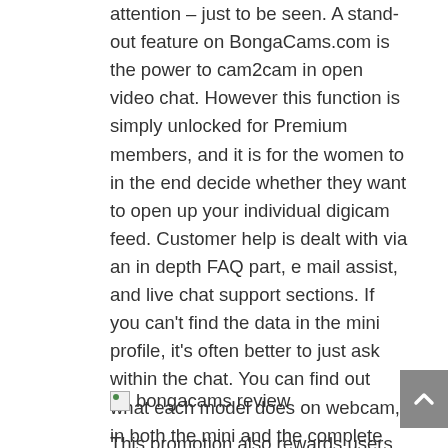attention – just to be seen. A stand-out feature on BongaCams.com is the power to cam2cam in open video chat. However this function is simply unlocked for Premium members, and it is for the women to in the end decide whether they want to open up your individual digicam feed. Customer help is dealt with via an in depth FAQ part, e mail assist, and live chat support sections. If you can't find the data in the mini profile, it's often better to just ask within the chat. You can find out what each model does on webcam, in both the mini and the complete profiles. In addition to this, you will be thrilled on the quality of the HD cams.
[Figure (photo): bongacams review image placeholder with broken image icon]
This promotion also rewards users depending on their actions to the platform. Group chats – Whereby several purchasers type a group and request a single model to have a bunch chat. The mode of